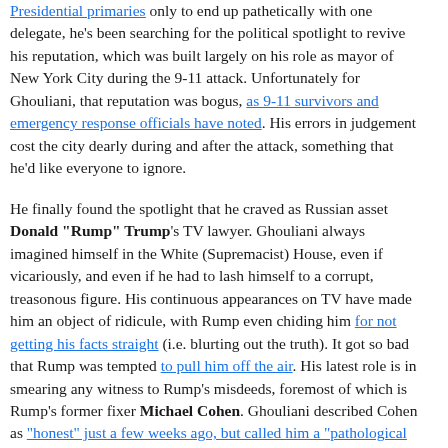Presidential primaries only to end up pathetically with one delegate, he's been searching for the political spotlight to revive his reputation, which was built largely on his role as mayor of New York City during the 9-11 attack. Unfortunately for Ghouliani, that reputation was bogus, as 9-11 survivors and emergency response officials have noted. His errors in judgement cost the city dearly during and after the attack, something that he'd like everyone to ignore.
He finally found the spotlight that he craved as Russian asset Donald "Rump" Trump's TV lawyer. Ghouliani always imagined himself in the White (Supremacist) House, even if vicariously, and even if he had to lash himself to a corrupt, treasonous figure. His continuous appearances on TV have made him an object of ridicule, with Rump even chiding him for not getting his facts straight (i.e. blurting out the truth). It got so bad that Rump was tempted to pull him off the air. His latest role is in smearing any witness to Rump's misdeeds, foremost of which is Rump's former fixer Michael Cohen. Ghouliani described Cohen as "honest" just a few weeks ago, but called him a "pathological manipulator and liar" this weekend, after sources close to Cohen said he was ready to